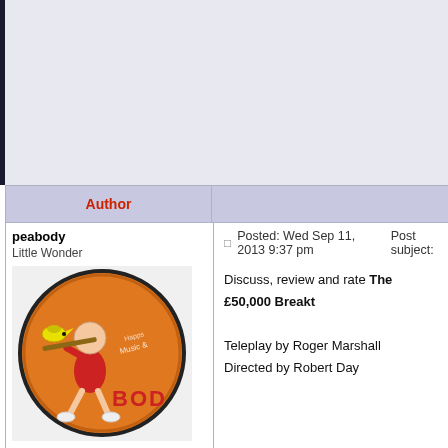[Figure (screenshot): Top area with light blue-grey background, partial forum page header]
| Author |  |
| --- | --- |
| peabody
Little Wonder
[avatar image]
Joined: 16 Oct 2009
Posts: 226
Location: MACS0647-JD | Posted: Wed Sep 11, 2013 9:37 pm   Post subject:

Discuss, review and rate The £50,000 Breakt...

Teleplay by Roger Marshall
Directed by Robert Day |